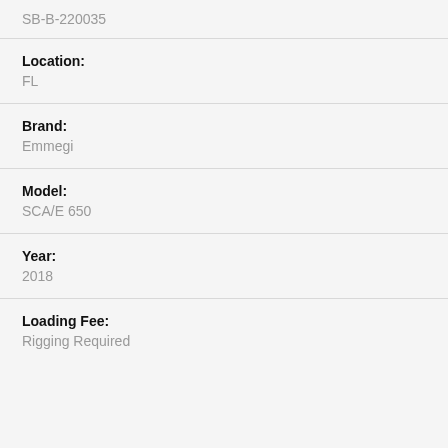SB-B-220035
Location: FL
Brand: Emmegi
Model: SCA/E 650
Year: 2018
Loading Fee: Rigging Required